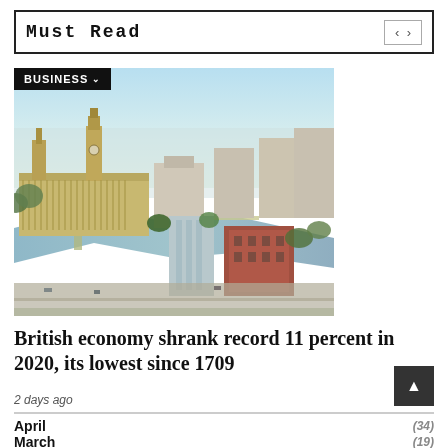Must Read
[Figure (photo): Aerial photograph of London showing the Houses of Parliament, Big Ben, Westminster Bridge, the River Thames, and surrounding urban landscape.]
British economy shrank record 11 percent in 2020, its lowest since 1709
2 days ago
April
March